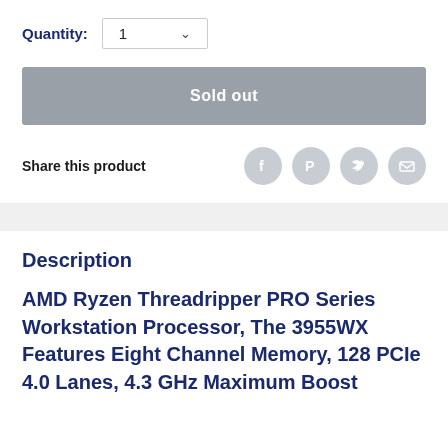Quantity: 1
Sold out
Share this product
Description
AMD Ryzen Threadripper PRO Series Workstation Processor, The 3955WX Features Eight Channel Memory, 128 PCIe 4.0 Lanes, 4.3 GHz Maximum Boost